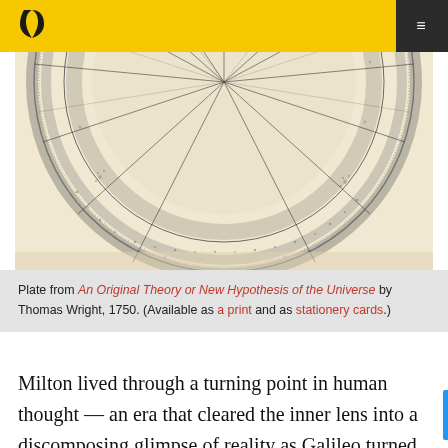Navigation bar with logo and menu button
[Figure (illustration): Detailed engraved plate showing a circular astronomical/cosmological diagram with radiating lines and dotted patterns, from An Original Theory or New Hypothesis of the Universe by Thomas Wright, 1750. The image shows the lower half of the circular diagram against a cream/beige background.]
Plate from An Original Theory or New Hypothesis of the Universe by Thomas Wright, 1750. (Available as a print and as stationery cards.)
Milton lived through a turning point in human thought — an era that cleared the inner lens into a discomposing glimpse of reality as Galileo turned the lens of his primitive telescope outward to dismantle our illusions of